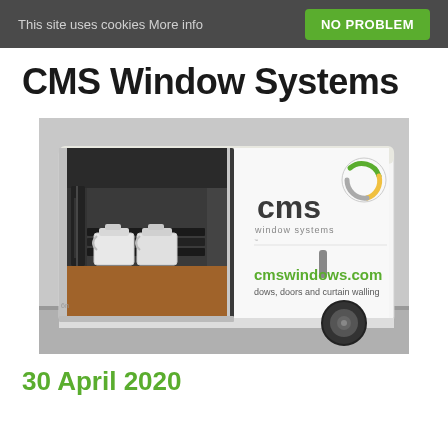This site uses cookies More info  NO PROBLEM
CMS Window Systems
[Figure (photo): A white CMS Window Systems van with its rear doors open, showing white plastic containers/jugs inside. The van displays the CMS logo, cmswindows.com URL, and text 'dows, doors and curtain walling'.]
30 April 2020